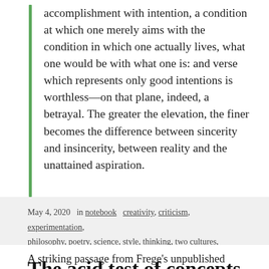accomplishment with intention, a condition at which one merely aims with the condition in which one actually lives, what one would be with what one is: and verse which represents only good intentions is worthless—on that plane, indeed, a betrayal. The greater the elevation, the finer becomes the difference between sincerity and insincerity, between reality and the unattained aspiration.
May 4, 2020  in notebook  creativity, criticism, experimentation, philosophy, poetry, science, style, thinking, two cultures, writing
The acid test of concepts
A striking passage from Frege's unpublished essay